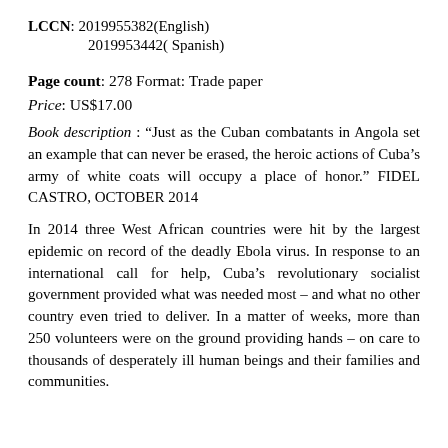LCCN: 2019955382(English)
2019953442( Spanish)
Page count: 278 Format: Trade paper
Price: US$17.00
Book description : “Just as the Cuban combatants in Angola set an example that can never be erased, the heroic actions of Cuba’s army of white coats will occupy a place of honor.” FIDEL CASTRO, OCTOBER 2014
In 2014 three West African countries were hit by the largest epidemic on record of the deadly Ebola virus. In response to an international call for help, Cuba’s revolutionary socialist government provided what was needed most – and what no other country even tried to deliver. In a matter of weeks, more than 250 volunteers were on the ground providing hands – on care to thousands of desperately ill human beings and their families and communities. By April 2015 the Ebola epidemic had